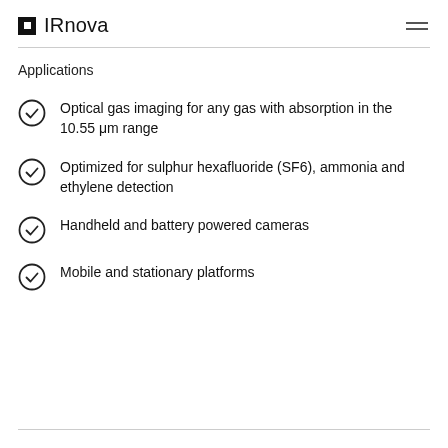IRnova
Applications
Optical gas imaging for any gas with absorption in the 10.55 μm range
Optimized for sulphur hexafluoride (SF6), ammonia and ethylene detection
Handheld and battery powered cameras
Mobile and stationary platforms